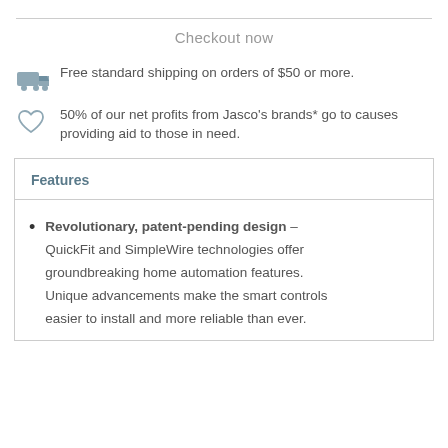Checkout now
Free standard shipping on orders of $50 or more.
50% of our net profits from Jasco’s brands* go to causes providing aid to those in need.
Features
Revolutionary, patent-pending design – QuickFit and SimpleWire technologies offer groundbreaking home automation features. Unique advancements make the smart controls easier to install and more reliable than ever.